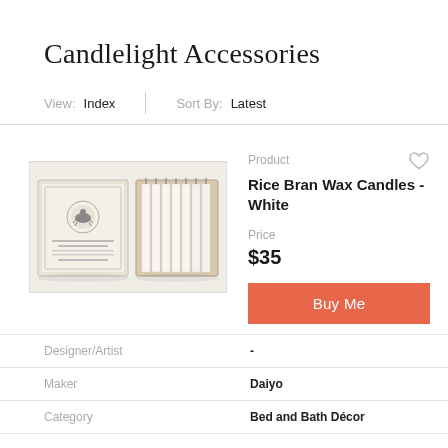Candlelight Accessories
View: Index | Sort By: Latest
[Figure (photo): Product photo of Rice Bran Wax Candles - White, showing a matchbox-style package opened to reveal multiple white taper candles arranged in rows]
Product
Rice Bran Wax Candles - White
Price
$35
Buy Me
| Designer/Artist | - |
| Maker | Daiyo |
| Category | Bed and Bath Décor |